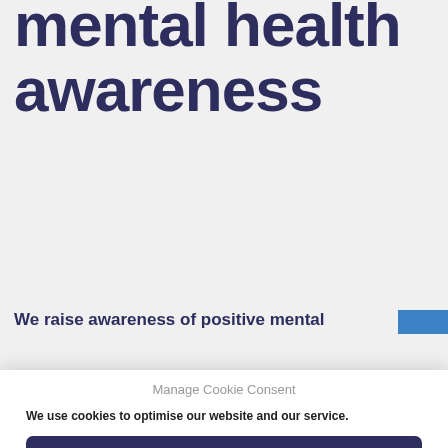Promoting mental health awareness
We raise awareness of positive mental
Manage Cookie Consent
We use cookies to optimise our website and our service.
Accept
Deny
Preferences